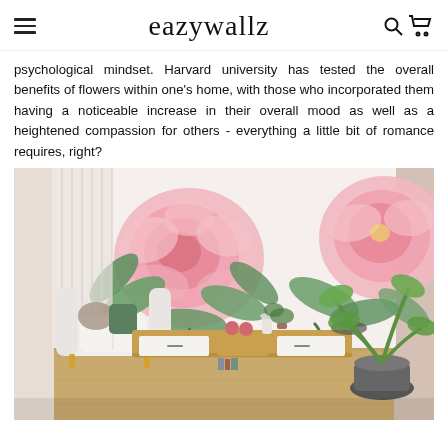eazywallz
psychological mindset. Harvard university has tested the overall benefits of flowers within one's home, with those who incorporated them having a noticeable increase in their overall mood as well as a heightened compassion for others - everything a little bit of romance requires, right?
[Figure (photo): Interior room scene showing a white sofa with green and grey pillows on the left, a wooden TV console unit in the center with decorative items, a large potted plant on the right, and a floral wallpaper mural covering the back wall with large pink roses and green leaves on a white background. Wooden floor and light curtains visible.]